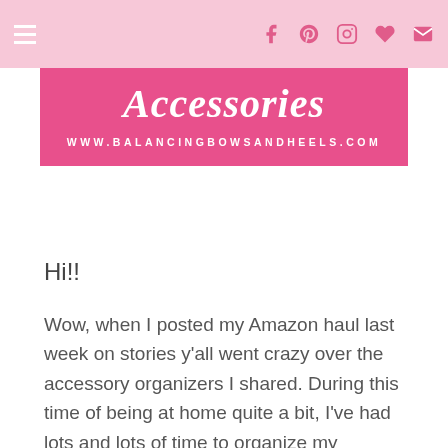Navigation bar with hamburger menu and social icons (Facebook, Pinterest, Instagram, heart, email)
[Figure (illustration): Pink banner with italic bold white text reading 'Accessories' and URL 'WWW.BALANCINGBOWSANDHEELS.COM' below in white caps]
Hi!!
Wow, when I posted my Amazon haul last week on stories y'all went crazy over the accessory organizers I shared. During this time of being at home quite a bit, I've had lots and lots of time to organize my accessories just